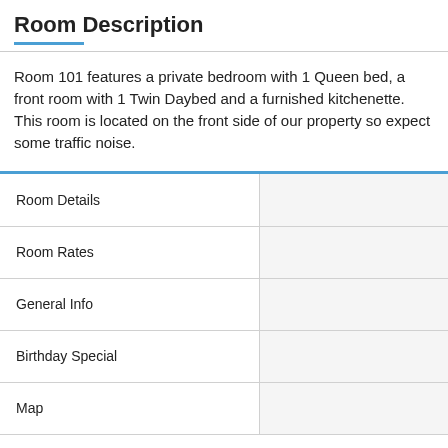Room Description
Room 101 features a private bedroom with 1 Queen bed, a front room with 1 Twin Daybed and a furnished kitchenette.  This room is located on the front side of our property so expect some traffic noise.
|  |  |
| --- | --- |
| Room Details |  |
| Room Rates |  |
| General Info |  |
| Birthday Special |  |
| Map |  |